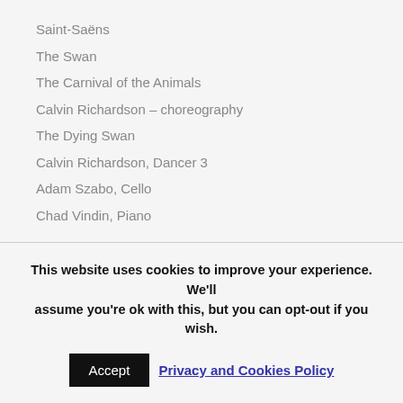Saint-Saëns
The Swan
The Carnival of the Animals
Calvin Richardson – choreography
The Dying Swan
Calvin Richardson, Dancer 3
Adam Szabo, Cello
Chad Vindin, Piano
Giovanni Sollima (1962- )
Violoncelles Vibrez!
This website uses cookies to improve your experience. We'll assume you're ok with this, but you can opt-out if you wish.
Accept
Privacy and Cookies Policy